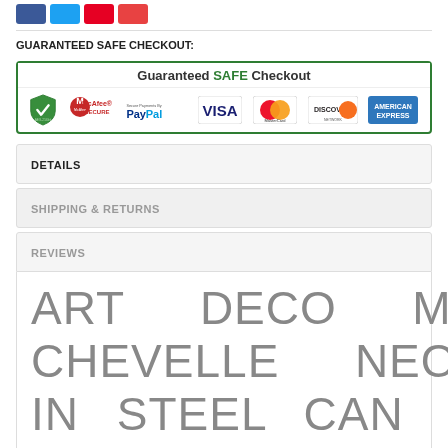[Figure (infographic): Social media share buttons: Facebook (blue), Twitter (light blue), Pinterest (red), YouTube (red)]
GUARANTEED SAFE CHECKOUT:
[Figure (infographic): Guaranteed SAFE Checkout banner with security logos: AES-256bit shield, McAfee SECURE, Secure Payments By PayPal, VISA, MasterCard, DISCOVER, AMERICAN EXPRESS]
DETAILS
SHIPPING & RETURNS
REVIEWS
ART DECO MARQUEE CHEVELLE NEON SIGN IN STEEL CAN